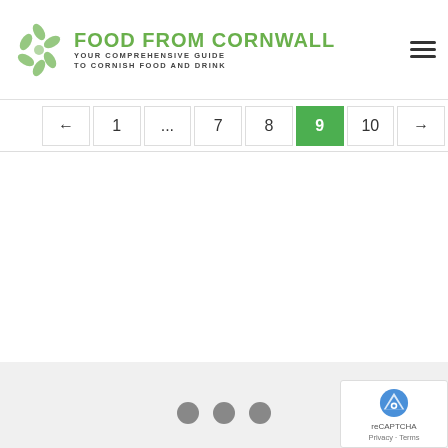FOOD FROM CORNWALL — YOUR COMPREHENSIVE GUIDE TO CORNISH FOOD AND DRINK
[Figure (other): Pagination navigation bar showing: left arrow, 1, ..., 7, 8, 9 (active/green), 10, right arrow]
[Figure (other): Loading spinner: three gray dots indicating content loading]
[Figure (other): Google reCAPTCHA badge with logo, Privacy and Terms links]